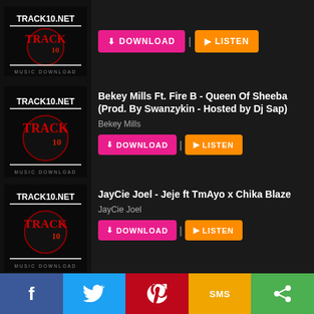[Figure (screenshot): Partial music item with DOWNLOAD and LISTEN buttons at top of page]
[Figure (screenshot): TRACK10.NET Music Download thumbnail logo]
Bekey Mills Ft. Fire B - Queen Of Sheeba (Prod. By Swanzykin - Hosted by Dj Sap)
Bekey Mills
[Figure (screenshot): TRACK10.NET Music Download thumbnail logo]
JayCie Joel - Jeje ft TmAyo x Chika Blaze
JayCie Joel
[Figure (screenshot): TRACK10.NET Music Download thumbnail logo]
Opanka - I Got The Keys(Dj Khaled Remix)
Opanka
[Figure (screenshot): TRACK10.NET Music Download thumbnail logo]
f  (twitter)  (pinterest)  SMS  (share)